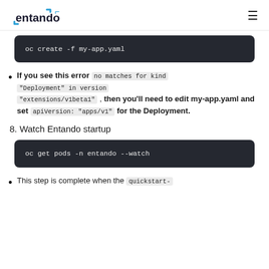entando [logo] [hamburger menu]
[Figure (screenshot): Dark code block showing: oc create -f my-app.yaml]
If you see this error no matches for kind "Deployment" in version "extensions/v1beta1" , then you'll need to edit my-app.yaml and set apiVersion: "apps/v1" for the Deployment.
8. Watch Entando startup
[Figure (screenshot): Dark code block showing: oc get pods -n entando --watch]
This step is complete when the quickstart-